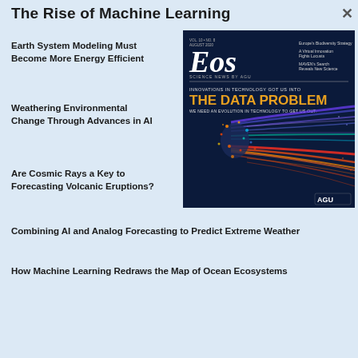The Rise of Machine Learning
Earth System Modeling Must Become More Energy Efficient
Weathering Environmental Change Through Advances in AI
[Figure (photo): Cover of Eos Science News by AGU magazine, showing 'The Data Problem' issue with colorful data visualization streams on a dark background. Tagline: 'Innovations in technology got us into THE DATA PROBLEM. We need an evolution in technology to get us out.']
Are Cosmic Rays a Key to Forecasting Volcanic Eruptions?
Combining AI and Analog Forecasting to Predict Extreme Weather
How Machine Learning Redraws the Map of Ocean Ecosystems